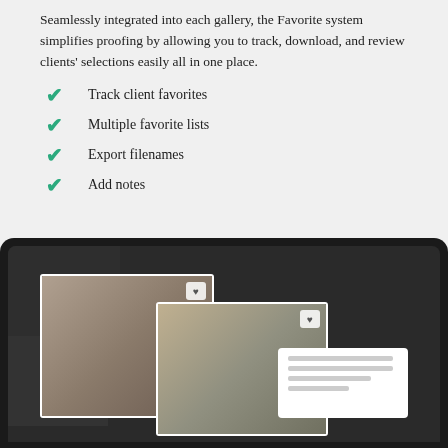Seamlessly integrated into each gallery, the Favorite system simplifies proofing by allowing you to track, download, and review clients' selections easily all in one place.
Track client favorites
Multiple favorite lists
Export filenames
Add notes
[Figure (screenshot): Laptop screen showing a photo gallery interface with wedding photos. Two featured photos of couples are highlighted with heart/favorite icons. A notes popup panel is visible in the lower right of the screen.]